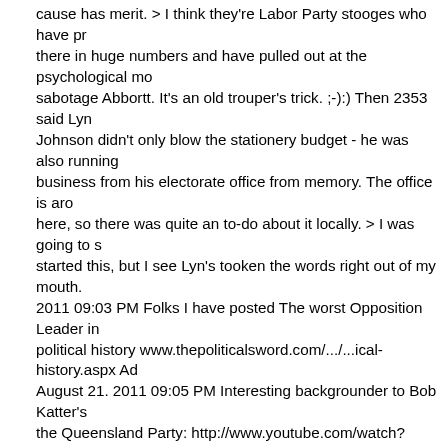cause has merit. > I think they're Labor Party stooges who have pulled there in huge numbers and have pulled out at the psychological moment to sabotage Abbortt. It's an old trouper's trick. ;-):) Then 2353 said Lyn Johnson didn't only blow the stationery budget - he was also running his business from his electorate office from memory. The office is around here, so there was quite an to-do about it locally. > I was going to say I started this, but I see Lyn's tooken the words right out of my mouth. 2011 09:03 PM Folks I have posted The worst Opposition Leader in political history www.thepoliticalsword.com/.../...ical-history.aspx Ad August 21. 2011 09:05 PM Interesting backgrounder to Bob Katter's the Queensland Party: http://www.youtube.com/watch?v=8NbEzAp Skeleton August 21. 2011 09:14 PM Hi 2353 No offence meant to Lyn and Trevor's little dog, but it's looking like the Liberal's are as crook as a hind leg. Lots more stuff will come out, you see next week, they sta Lyn Keep the info flowing Folks, knowledge is power and communi Teabaggism is a terrible threat to the very survival of life on this planet exaggeration imo, I'm not sure at all that Life has a future anyway chance at eternal life that, the way the Right is now, if they gain power that'll be the final straw for survival of a liveable planet. In this century Coalons in Australia grow ever more parallel to to the Tea Party in States. So Thanks to all our Ferrets. You do a mighty job.